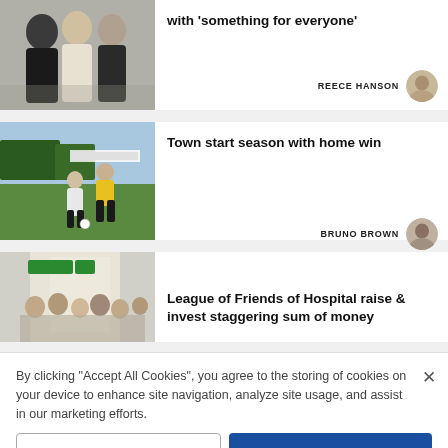[Figure (photo): Three people posing together indoors]
with 'something for everyone'
REECE HANSON
[Figure (photo): Football match scene on a grass pitch]
Town start season with home win
BRUNO BROWN
[Figure (photo): Group of people in a building corridor with green signage]
League of Friends of Hospital raise & invest staggering sum of money
By clicking “Accept All Cookies”, you agree to the storing of cookies on your device to enhance site navigation, analyze site usage, and assist in our marketing efforts.